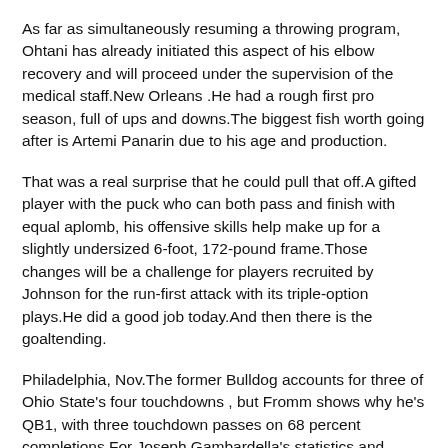As far as simultaneously resuming a throwing program, Ohtani has already initiated this aspect of his elbow recovery and will proceed under the supervision of the medical staff.New Orleans .He had a rough first pro season, full of ups and downs.The biggest fish worth going after is Artemi Panarin due to his age and production.
That was a real surprise that he could pull that off.A gifted player with the puck who can both pass and finish with equal aplomb, his offensive skills help make up for a slightly undersized 6-foot, 172-pound frame.Those changes will be a challenge for players recruited by Johnson for the run-first attack with its triple-option plays.He did a good job today.And then there is the goaltending.
Philadelphia, Nov.The former Bulldog accounts for three of Ohio State's four touchdowns , but Fromm shows why he's QB1, with three touchdown passes on 68 percent completions.For Joseph Gambardella's statistics and player profile, click."I need a nap," we're the first words in Ohio State coach Chris Holtmann's postgame press conference.Simon has not retaken the field since suffering a shoulder injury in Week 5, and was a limited participant in Friday's practice.
I'm just trying to understand why he regressed all of a sudden.The 23-year-old will try to help his team rebound at home Week 17 against Jacksonville.I don't necessarily think McPhee is opposed to taking on a contract like that.The